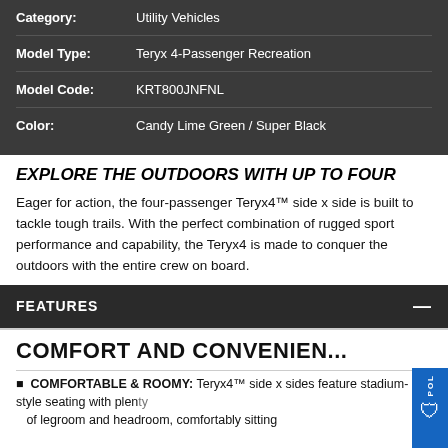| Category: | Utility Vehicles |
| Model Type: | Teryx 4-Passenger Recreation |
| Model Code: | KRT800JNFNL |
| Color: | Candy Lime Green / Super Black |
EXPLORE THE OUTDOORS WITH UP TO FOUR
Eager for action, the four-passenger Teryx4™ side x side is built to tackle tough trails. With the perfect combination of rugged sport performance and capability, the Teryx4 is made to conquer the outdoors with the entire crew on board.
FEATURES
COMFORT AND CONVENIEN...
COMFORTABLE & ROOMY: Teryx4™ side x sides feature stadium-style seating with plenty of legroom and headroom, comfortably sitting